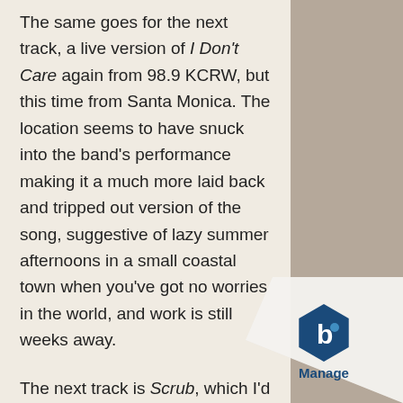The same goes for the next track, a live version of I Don't Care again from 98.9 KCRW, but this time from Santa Monica. The location seems to have snuck into the band's performance making it a much more laid back and tripped out version of the song, suggestive of lazy summer afternoons in a small coastal town when you've got no worries in the world, and work is still weeks away.

The next track is Scrub, which I'd describe as the spookily
[Figure (logo): Manage logo watermark in bottom right corner showing a stylized hexagon with letter b and the word Manage below]